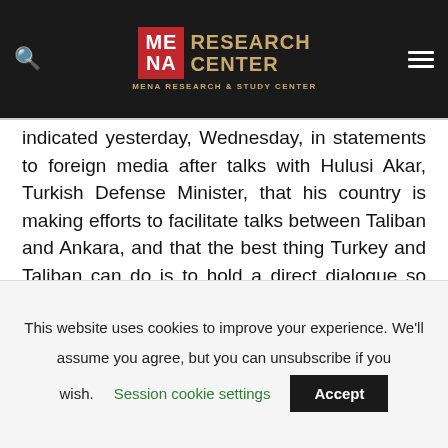MENA RESEARCH CENTER — MENA RESEARCH & STUDY CENTER
indicated yesterday, Wednesday, in statements to foreign media after talks with Hulusi Akar, Turkish Defense Minister, that his country is making efforts to facilitate talks between Taliban and Ankara, and that the best thing Turkey and Taliban can do is to hold a direct dialogue so that the two sides would be able to discuss the reasons why it is necessary to secure Kabul Airport.
This website uses cookies to improve your experience. We'll assume you agree, but you can unsubscribe if you wish. Session cookie settings Accept